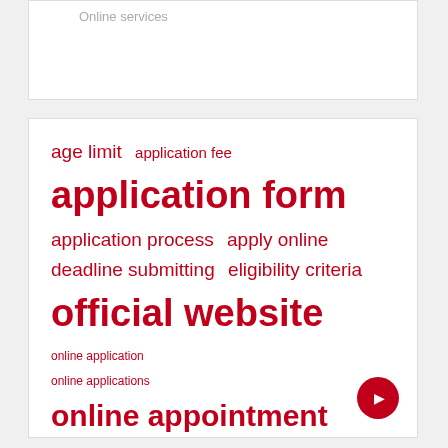Online services
[Figure (infographic): Tag cloud with terms in red at varying sizes: age limit, application fee, application form (largest), application process, apply online, deadline submitting, eligibility criteria, official website, online application, online applications, online appointment, online consultation, online form, sc st, united states, visit official. A red circular button with a right arrow appears at the bottom right.]